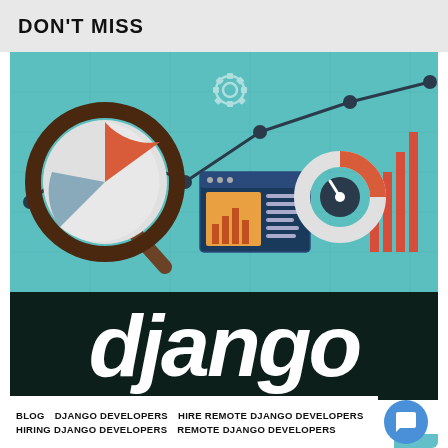DON'T MISS
[Figure (illustration): Data analytics illustration on teal background showing a magnifying glass with a pie chart, a line chart with nodes, a bar chart, a donut chart, a browser window with a bar graph, and a gear icon.]
[Figure (logo): Django logo in white italic bold text on a dark green/black background.]
BLOG   DJANGO DEVELOPERS   HIRE REMOTE DJANGO DEVELOPERS
HIRING DJANGO DEVELOPERS   REMOTE DJANGO DEVELOPERS